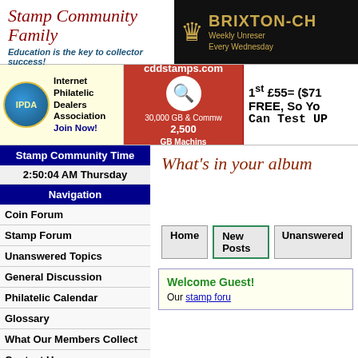[Figure (logo): Stamp Community Family logo with cursive text and tagline 'Education is the key to collector success!']
[Figure (logo): Brixton-Ch... advertisement with gold crown icon on black background, 'Weekly Unresered Every Wednesday']
[Figure (logo): IPDA Internet Philatelic Dealers Association banner ad with globe logo, 'Join Now!']
[Figure (logo): cddstamps.com banner ad on red background with magnifier, '30,000 GB & Commw, 2,500 GB Machins']
[Figure (infographic): Offer banner: 1st £55= ($71 FREE, So You Can Test UP...]
Stamp Community Time
2:50:04 AM Thursday
Navigation
Coin Forum
Stamp Forum
Unanswered Topics
General Discussion
Philatelic Calendar
Glossary
What Our Members Collect
Contact Us
Advertise Here
SCF Reccomended
What's in your album
Home | New Posts | Unanswered
Welcome Guest! Our stamp foru...